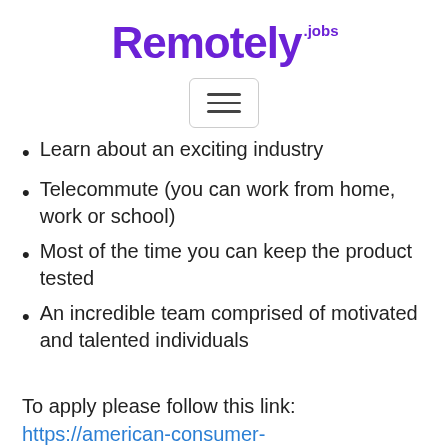Remotely.jobs
[Figure (other): Hamburger menu button icon with three horizontal lines inside a rounded rectangle border]
Learn about an exciting industry
Telecommute (you can work from home, work or school)
Most of the time you can keep the product tested
An incredible team comprised of motivated and talented individuals
To apply please follow this link: https://american-consumer-panels.com/application